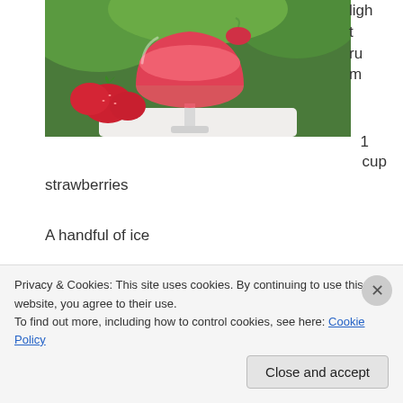[Figure (photo): A red strawberry daiquiri smoothie in a glass with fresh strawberries around it and green background]
light rum
1 cup strawberries
A handful of ice
1/2 or 1 packet of Stevia (depending on desire of
Privacy & Cookies: This site uses cookies. By continuing to use this website, you agree to their use.
To find out more, including how to control cookies, see here: Cookie Policy
Close and accept